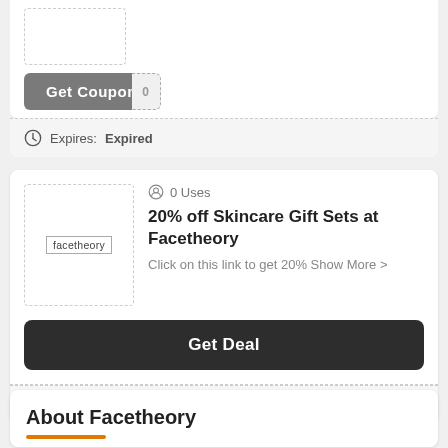[Figure (other): Partial coupon card top: logo placeholder box and Get Coupon button with dashed tear edge]
Expires: Expired
0 Uses
20% off Skincare Gift Sets at Facetheory
Click on this link to get 20% Show More >
Get Deal
Expires: Expired
About Facetheory